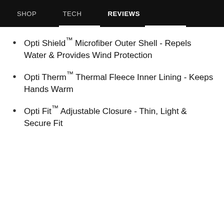SHOP   TECH   REVIEWS
Opti Shield™ Microfiber Outer Shell - Repels Water & Provides Wind Protection
Opti Therm™ Thermal Fleece Inner Lining - Keeps Hands Warm
Opti Fit™ Adjustable Closure - Thin, Light & Secure Fit